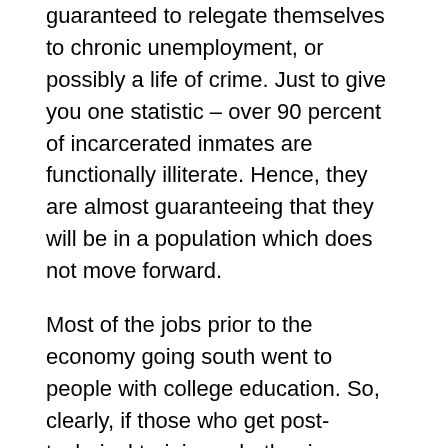guaranteed to relegate themselves to chronic unemployment, or possibly a life of crime. Just to give you one statistic – over 90 percent of incarcerated inmates are functionally illiterate. Hence, they are almost guaranteeing that they will be in a population which does not move forward.
Most of the jobs prior to the economy going south went to people with college education. So, clearly, if those who get post-technical training, whether in an adult school or community college, or a four-year university degree, those are the individuals that seem to get employed and re-employed. If having a high school education no longer guarantees a job, imagine not having a high school diploma and you drop out of school. Even though the Orange County dropout rate is less than 2 percent, those children pretty much are guaranteed to become second-class citizens. This is a challenge that has contributed to the mismatch that you are talking about.